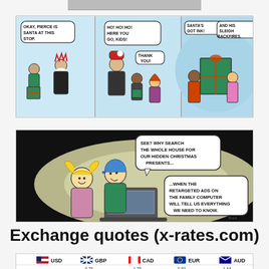[Figure (illustration): Partially visible top of a comic strip, cropped at the top edge of the page]
[Figure (illustration): Three-panel comic strip: Panel 1 shows a punk-looking person dressed as Santa with speech bubble 'OKAY, PIERCE IS SANTA AT THIS STOP'. Panel 2 shows Santa handing gifts to kids with speech bubbles 'HO! HO! HO! HERE YOU GO, KIDS!' and 'THANK YOU!'. Panel 3 shows two kids carrying a large green gift with speech bubbles 'SANTA'S GOT INK!' and 'AND HIS SLEIGH BACKFIRES.']
[Figure (illustration): Wide single-panel comic strip showing two children (girl with blonde pigtails and boy with blue cap) looking at a laptop in the dark with spotlight effect. Speech bubbles read 'SEE? WHY SEARCH THE WHOLE HOUSE FOR OUR HIDDEN CHRISTMAS PRESENTS...' and '...WHEN THE RETARGETED ADS ON THE FAMILY COMPUTER WILL TELL US EVERYTHING WE NEED TO KNOW.']
Exchange quotes (x-rates.com)
[Figure (table-as-image): Currency exchange rate table header showing USD, GBP, CAD, EUR, AUD with flag icons, with a partially visible data row below]